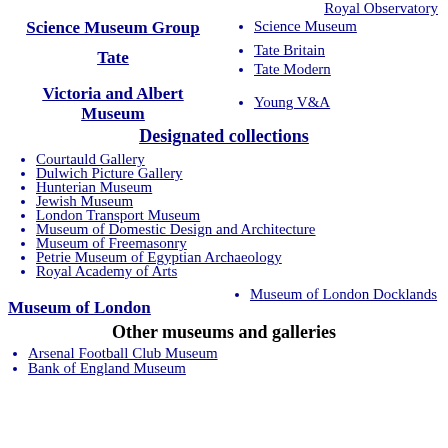Royal Observatory (partial, top of page)
Science Museum Group
Science Museum
Tate
Tate Britain
Tate Modern
Victoria and Albert Museum
Young V&A
Designated collections
Courtauld Gallery
Dulwich Picture Gallery
Hunterian Museum
Jewish Museum
London Transport Museum
Museum of Domestic Design and Architecture
Museum of Freemasonry
Petrie Museum of Egyptian Archaeology
Royal Academy of Arts
Museum of London
Museum of London Docklands
Other museums and galleries
Arsenal Football Club Museum
Bank of England Museum